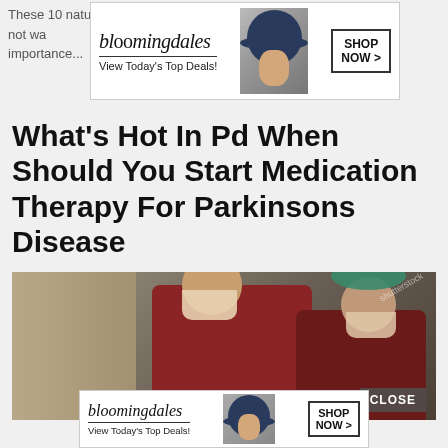These 10 natural treatments and remedies do all four. So let's not wa... f importance...
[Figure (screenshot): Bloomingdales advertisement banner with logo, 'View Today's Top Deals!' tagline, model in wide-brim hat, and 'SHOP NOW >' button]
What's Hot In Pd When Should You Start Medication Therapy For Parkinsons Disease
[Figure (photo): Two surgeons or medical workers wearing scrub caps and face masks in a medical setting, wearing dark red/maroon vests]
[Figure (screenshot): Bloomingdales advertisement banner at bottom with logo, 'View Today's Top Deals!' tagline, model in wide-brim hat, and 'SHOP NOW >' button]